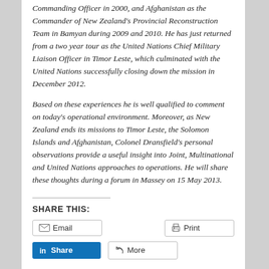Commanding Officer in 2000, and Afghanistan as the Commander of New Zealand's Provincial Reconstruction Team in Bamyan during 2009 and 2010. He has just returned from a two year tour as the United Nations Chief Military Liaison Officer in Timor Leste, which culminated with the United Nations successfully closing down the mission in December 2012.
Based on these experiences he is well qualified to comment on today's operational environment. Moreover, as New Zealand ends its missions to Timor Leste, the Solomon Islands and Afghanistan, Colonel Dransfield's personal observations provide a useful insight into Joint, Multinational and United Nations approaches to operations. He will share these thoughts during a forum in Massey on 15 May 2013.
SHARE THIS:
Email
Print
Share
More